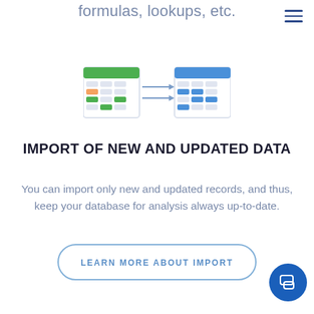formulas, lookups, etc.
[Figure (illustration): Two spreadsheet/table icons connected by horizontal arrows pointing right, showing data import from a source (green header) to a destination (blue header)]
IMPORT OF NEW AND UPDATED DATA
You can import only new and updated records, and thus, keep your database for analysis always up-to-date.
LEARN MORE ABOUT IMPORT